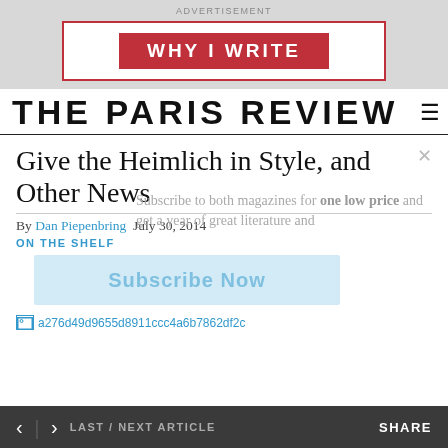ADVERTISEMENT
[Figure (logo): WHY I WRITE advertisement banner with red box and red label on white background]
THE PARIS REVIEW
Give the Heimlich in Style, and Other News
Subscribe to both magazines for one low price and get a year of great literature and criticism!
By Dan Piepenbring  July 30, 2014
ON THE SHELF
[Figure (other): Subscribe Now button overlay on light blue background]
a276d49d9655d8911ccc4a6b7862df2c
< | > LAST / NEXT ARTICLE    SHARE